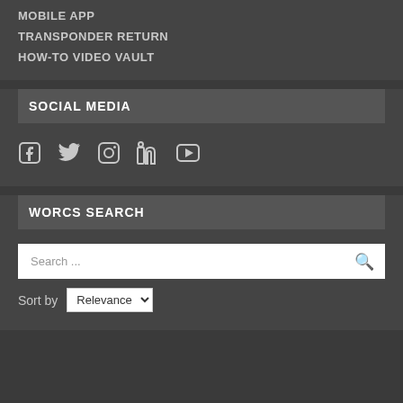MOBILE APP
TRANSPONDER RETURN
HOW-TO VIDEO VAULT
SOCIAL MEDIA
[Figure (infographic): Social media icons: Facebook, Twitter, Instagram, LinkedIn, YouTube]
WORCS SEARCH
[Figure (infographic): Back to top circular button with upward chevron arrow, blue gradient]
Search ...
Sort by Relevance